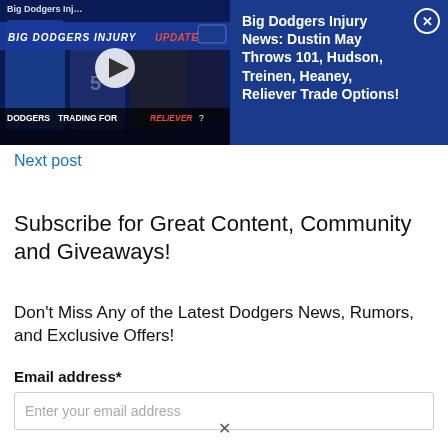[Figure (screenshot): Video thumbnail for Big Dodgers Injury Update showing Dodgers players with 'Dodgers Trading For Reliever?' text overlay and a play button]
Big Dodgers Injury News: Dustin May Throws 101, Hudson, Treinen, Heaney, Reliever Trade Options!
Next post
Subscribe for Great Content, Community and Giveaways!
Don't Miss Any of the Latest Dodgers News, Rumors, and Exclusive Offers!
Email address*
Enter your email address